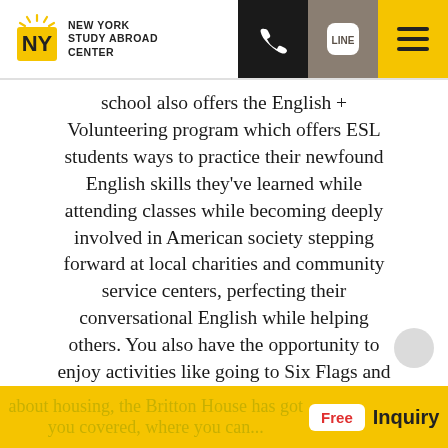NEW YORK STUDY ABROAD CENTER
school also offers the English + Volunteering program which offers ESL students ways to practice their newfound English skills they've learned while attending classes while becoming deeply involved in American society stepping forward at local charities and community service centers, perfecting their conversational English while helping others. You also have the opportunity to enjoy activities like going to Six Flags and DC for an overnight stay. If you're worried about housing, the Britton House has got you covered, where you can...
Free  Inquiry